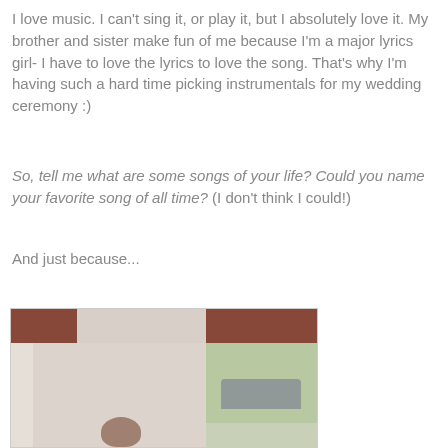I love music. I can't sing it, or play it, but I absolutely love it. My brother and sister make fun of me because I'm a major lyrics girl- I have to love the lyrics to love the song. That's why I'm having such a hard time picking instrumentals for my wedding ceremony :)
So, tell me what are some songs of your life? Could you name your favorite song of all time? (I don't think I could!)
And just because...
[Figure (photo): Indoor photo showing a room with reddish-brown curtain valances at the top, white curtains on the left, a light-colored wall, and a window on the right showing a car outside. A person's head is partially visible at the bottom center.]